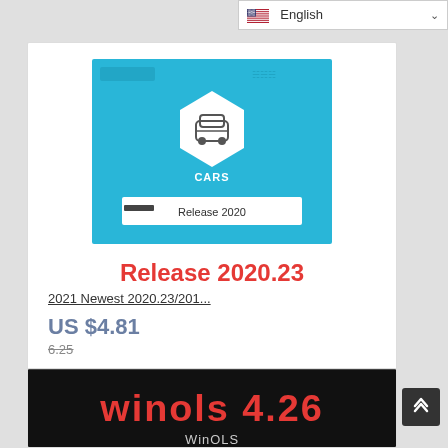English
[Figure (screenshot): Product image showing a cyan/blue background with a white hexagon shape containing a car icon and text 'CARS', with 'Release 2020' text at the bottom of the image]
Release 2020.23
2021 Newest 2020.23/201...
US $4.81
6.25
[Figure (other): Five empty star ratings]
[Figure (screenshot): Second product card showing 'winols 4.26' text on a dark background with WinOLS logo]